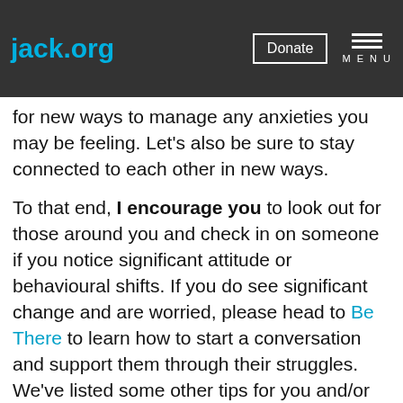jack.org | Donate | MENU
those who regularly struggle. I strongly encourage you to take some more time for self-care and look for new ways to manage any anxieties you may be feeling. Let’s also be sure to stay connected to each other in new ways.
To that end, I encourage you to look out for those around you and check in on someone if you notice significant attitude or behavioural shifts. If you do see significant change and are worried, please head to Be There to learn how to start a conversation and support them through their struggles. We’ve listed some other tips for you and/or others in your life below.
If you find that the non-stop news coverage is causing you significant stress, it’s important to find a balance and tune out to some degree.